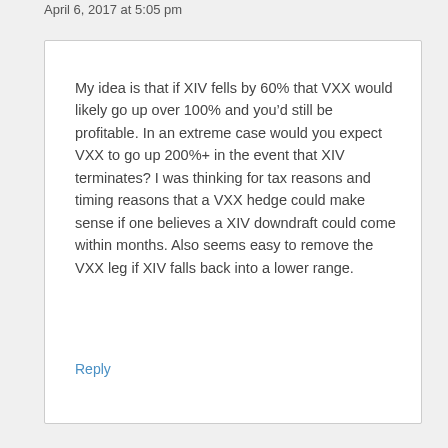April 6, 2017 at 5:05 pm
My idea is that if XIV fells by 60% that VXX would likely go up over 100% and you’d still be profitable. In an extreme case would you expect VXX to go up 200%+ in the event that XIV terminates? I was thinking for tax reasons and timing reasons that a VXX hedge could make sense if one believes a XIV downdraft could come within months. Also seems easy to remove the VXX leg if XIV falls back into a lower range.
Reply